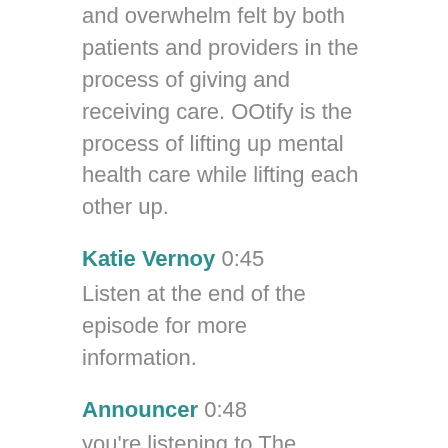and overwhelm felt by both patients and providers in the process of giving and receiving care. OOtify is the process of lifting up mental health care while lifting each other up.
Katie Vernoy 0:45
Listen at the end of the episode for more information.
Announcer 0:48
you're listening to The Modern Therapist's Survival Guide, where therapists live, breathe, and practice as human beings. To support you as a whole person and a therapist, here are your hosts, Curt Widhalm and Katie Vernoy